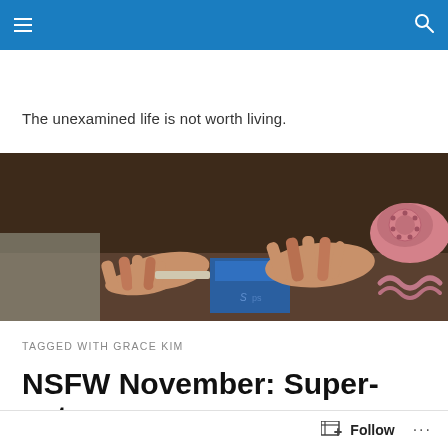Navigation header bar with hamburger menu and search icon
The unexamined life is not worth living.
[Figure (photo): Close-up photo of two hands on a desk surface with a blue box object and a pink rotary telephone on the right side]
TAGGED WITH GRACE KIM
NSFW November: Super-cute Grace Kim, Miss Nova…
Follow   ...